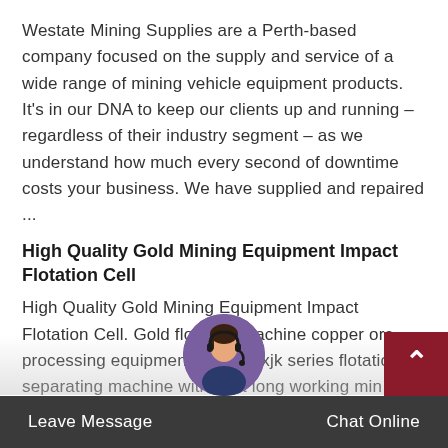Westate Mining Supplies are a Perth-based company focused on the supply and service of a wide range of mining vehicle equipment products. It's in our DNA to keep our clients up and running – regardless of their industry segment – as we understand how much every second of downtime costs your business. We have supplied and repaired ...
High Quality Gold Mining Equipment Impact Flotation Cell
High Quality Gold Mining Equipment Impact Flotation Cell. Gold flotation machine copper ore processing equipments.Mining xjk series flotation separating machine with best long working min separator gold flotation machine, lead ore flota machine. High efficiency flotation cell for lead zinc mining equipment 2017 good quality...